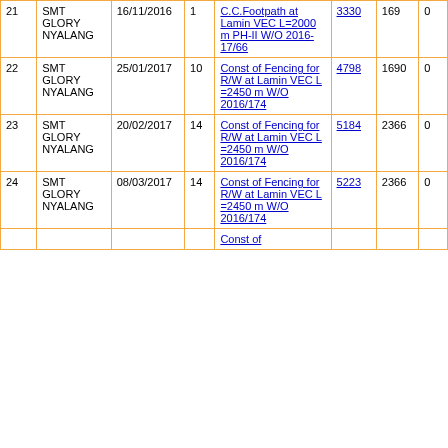| 21 | SMT GLORY NYALANG | 16/11/2016 | 1 | C.C.Footpath at Lamin VEC L=2000 m PH-II W/O 2016-17/66 | 3330 | 169 | 0 |
| 22 | SMT GLORY NYALANG | 25/01/2017 | 10 | Const of Fencing for R/W at Lamin VEC L =2450 m W/O 2016/174 | 4798 | 1690 | 0 |
| 23 | SMT GLORY NYALANG | 20/02/2017 | 14 | Const of Fencing for R/W at Lamin VEC L =2450 m W/O 2016/174 | 5184 | 2366 | 0 |
| 24 | SMT GLORY NYALANG | 08/03/2017 | 14 | Const of Fencing for R/W at Lamin VEC L =2450 m W/O 2016/174 | 5223 | 2366 | 0 |
|  |  |  |  | Const of |  |  |  |